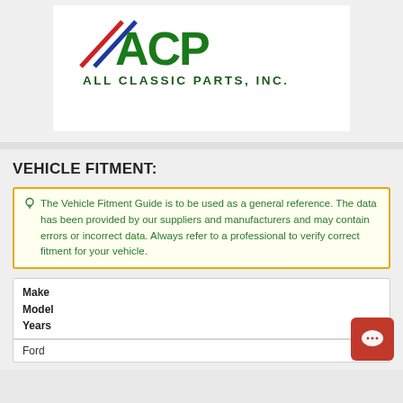[Figure (logo): ACP All Classic Parts Inc logo with red, white and blue diagonal stripes and green bold text]
VEHICLE FITMENT:
The Vehicle Fitment Guide is to be used as a general reference. The data has been provided by our suppliers and manufacturers and may contain errors or incorrect data. Always refer to a professional to verify correct fitment for your vehicle.
| Make | Model | Years |
| --- | --- | --- |
| Ford |  |  |